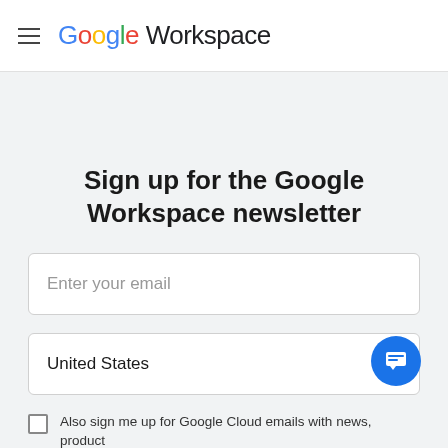Google Workspace
Sign up for the Google Workspace newsletter
Enter your email
United States
Also sign me up for Google Cloud emails with news, product